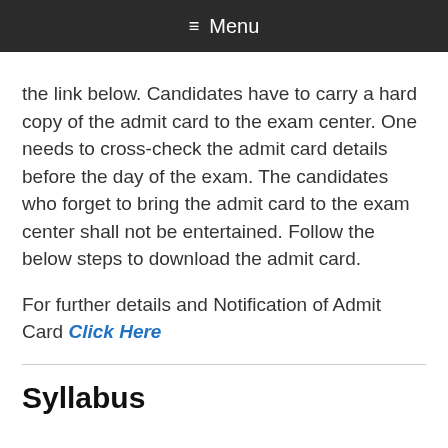≡ Menu
the link below. Candidates have to carry a hard copy of the admit card to the exam center. One needs to cross-check the admit card details before the day of the exam. The candidates who forget to bring the admit card to the exam center shall not be entertained. Follow the below steps to download the admit card.
For further details and Notification of Admit Card Click Here
Syllabus